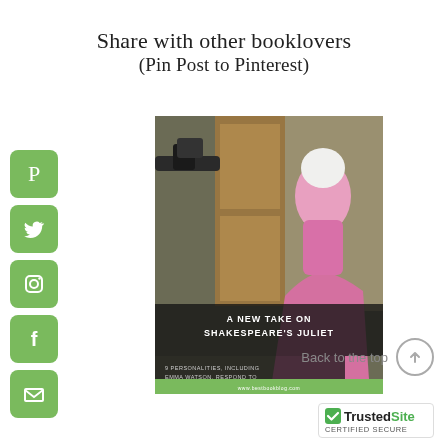Share with other booklovers (Pin Post to Pinterest)
[Figure (illustration): Vertical column of social media share buttons: Pinterest (P), Twitter (bird), Instagram (camera), Facebook (f), Email (envelope) — all green rounded square icons]
[Figure (photo): Magazine-style image of a woman in a pink ballgown with white veil, overlaid text reads: 'A NEW TAKE ON SHAKESPEARE'S JULIET – 9 PERSONALITIES, INCLUDING EMMA WATSON, RESPOND TO THE CASTING CALL.' with a green banner footer and website URL.]
Back to the top
[Figure (logo): TrustedSite CERTIFIED SECURE badge with green checkmark]